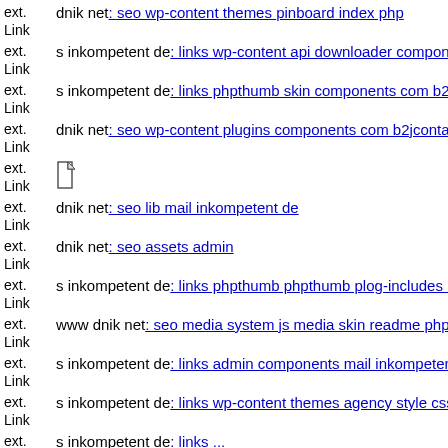ext. Link dnik net: seo wp-content themes pinboard index php
ext. Link s inkompetent de: links wp-content api downloader component
ext. Link s inkompetent de: links phpthumb skin components com b2jco
ext. Link dnik net: seo wp-content plugins components com b2jcontact h
ext. Link [file icon]
ext. Link dnik net: seo lib mail inkompetent de
ext. Link dnik net: seo assets admin
ext. Link s inkompetent de: links phpthumb phpthumb plog-includes lib
ext. Link www dnik net: seo media system js media skin readme php
ext. Link s inkompetent de: links admin components mail inkompetent d
ext. Link s inkompetent de: links wp-content themes agency style css
ext. Link s inkompetent de: links ...